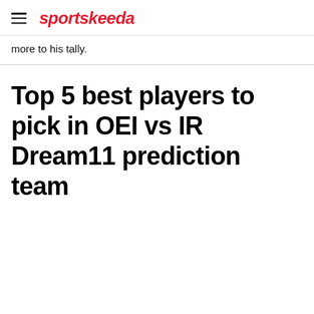sportskeeda
more to his tally.
Top 5 best players to pick in OEI vs IR Dream11 prediction team